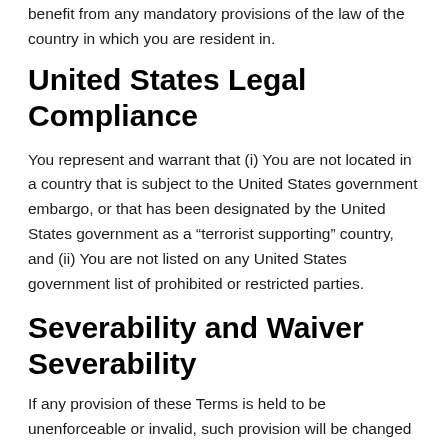benefit from any mandatory provisions of the law of the country in which you are resident in.
United States Legal Compliance
You represent and warrant that (i) You are not located in a country that is subject to the United States government embargo, or that has been designated by the United States government as a “terrorist supporting” country, and (ii) You are not listed on any United States government list of prohibited or restricted parties.
Severability and Waiver
Severability
If any provision of these Terms is held to be unenforceable or invalid, such provision will be changed and interpreted to accomplish the